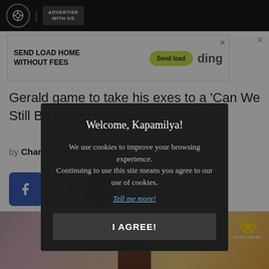ABS-CBN | ADVERTISE WITH US
[Figure (screenshot): Advertisement banner for 'ding' - Send Load Home Without Fees with Send Load button]
Gerald game to take his exes to a 'Can We Still Be Friends' screening?
by Chandral Selim 6/2/2017 in News
[Figure (screenshot): Social media share buttons: Facebook, Twitter, and more options]
[Figure (photo): Star Cinema movie promotional image with a person in brown jacket against colorful background]
Welcome, Kapamilya! We use cookies to improve your browsing experience. Continuing to use this site means you agree to our use of cookies. Tell me more! I AGREE!